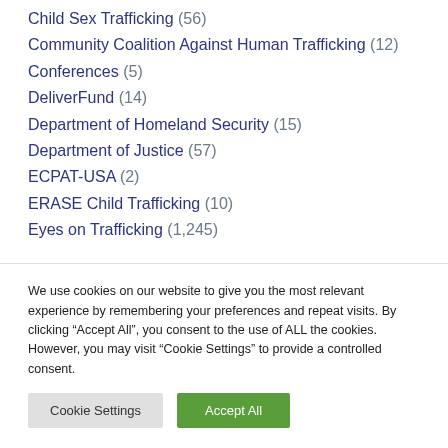Child Sex Trafficking (56)
Community Coalition Against Human Trafficking (12)
Conferences (5)
DeliverFund (14)
Department of Homeland Security (15)
Department of Justice (57)
ECPAT-USA (2)
ERASE Child Trafficking (10)
Eyes on Trafficking (1,245)
We use cookies on our website to give you the most relevant experience by remembering your preferences and repeat visits. By clicking "Accept All", you consent to the use of ALL the cookies. However, you may visit "Cookie Settings" to provide a controlled consent.